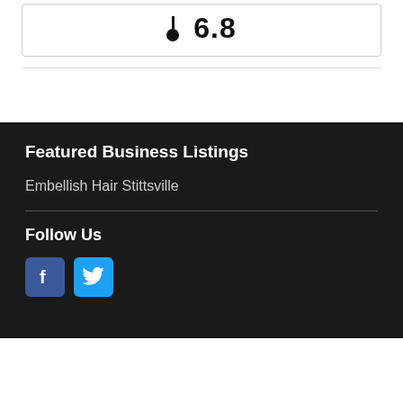[Figure (other): Rating indicator showing a pin/marker icon and the number 6.8 inside a bordered box]
Featured Business Listings
Embellish Hair Stittsville
Follow Us
[Figure (other): Social media icons: Facebook (blue square with 'f') and Twitter (light blue square with bird icon)]